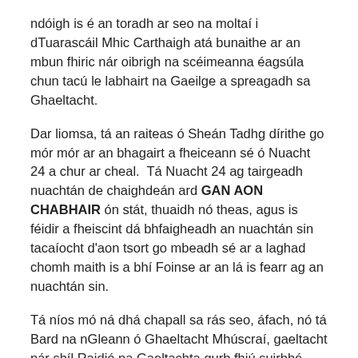ndóigh is é an toradh ar seo na moltaí i dTuarascáil Mhic Carthaigh atá bunaithe ar an mbun fhiric nár oibrigh na scéimeanna éagsúla chun tacú le labhairt na Gaeilge a spreagadh sa Ghaeltacht.
Dar liomsa, tá an raiteas ó Sheán Tadhg dírithe go mór mór ar an bhagairt a fheiceann sé ó Nuacht 24 a chur ar cheal.  Tá Nuacht 24 ag tairgeadh nuachtán de chaighdeán ard GAN AON CHABHAIR ón stát, thuaidh nó theas, agus is féidir a fheiscint dá bhfaigheadh an nuachtán sin tacaíocht d'aon tsort go mbeadh sé ar a laghad chomh maith is a bhí Foinse ar an lá is fearr ag an nuachtán sin.
Tá níos mó ná dhá chapall sa rás seo, áfach, nó tá Bard na nGleann ó Ghaeltacht Mhúscraí, gaeltacht nár shíl Raidió na Gaeltachta gurb fhiú suirbhé éisteoirí a dhéanamh ann, agus Nuacht 24 ó Ghaeltacht Bhéal Feirste, nach n-aithnítear mar Ghaeltacht toisc é bheith taobh amuigh de na 26 contae cé go dtuigtear go forleathan go bhfuil pobal chomh Gaelach